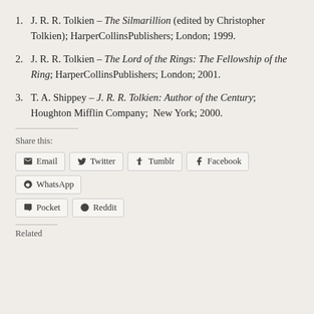J. R. R. Tolkien – The Silmarillion (edited by Christopher Tolkien); HarperCollinsPublishers; London; 1999.
J. R. R. Tolkien – The Lord of the Rings: The Fellowship of the Ring; HarperCollinsPublishers; London; 2001.
T. A. Shippey – J. R. R. Tolkien: Author of the Century; Houghton Mifflin Company; New York; 2000.
Share this:
Email   Twitter   Tumblr   Facebook   WhatsApp   Pocket   Reddit
Related